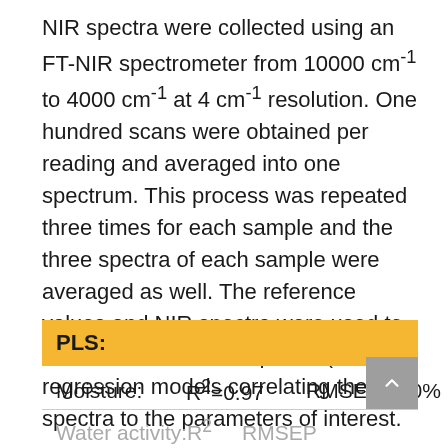NIR spectra were collected using an FT-NIR spectrometer from 10000 cm⁻¹ to 4000 cm⁻¹ at 4 cm⁻¹ resolution. One hundred scans were obtained per reading and averaged into one spectrum. This process was repeated three times for each sample and the three spectra of each sample were averaged as well. The reference values and NIR spectra were used to create Partial Least Squares (PLS) regression models correlating the spectra to the parameters of interest.
|  | R² | RMSEP |
| --- | --- | --- |
| PLS: |  |  |
| Moisture: | R²=0.97 | RMSEP=2.0% |